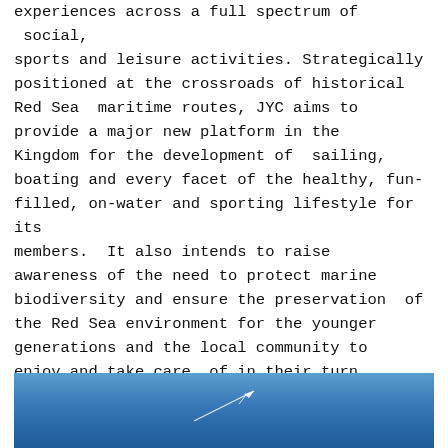experiences across a full spectrum of  social, sports and leisure activities. Strategically positioned at the crossroads of historical Red Sea  maritime routes, JYC aims to provide a major new platform in the Kingdom for the development of  sailing, boating and every facet of the healthy, fun-filled, on-water and sporting lifestyle for its members.  It also intends to raise awareness of the need to protect marine biodiversity and ensure the preservation  of the Red Sea environment for the younger generations and the local community to enjoy and take care  of in their turn.
[Figure (photo): A blue sky with a faint airplane contrail visible near the bottom of the image, partially cropped.]